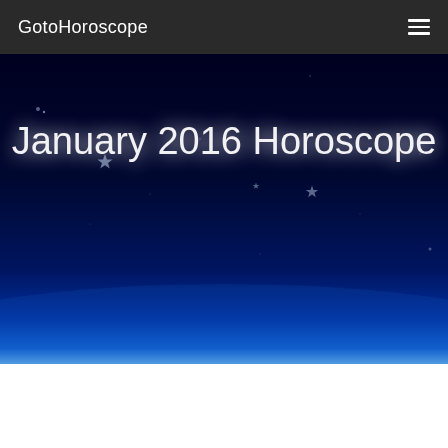GotoHoroscope
[Figure (illustration): Night sky hero banner with dark blue space background, stars, and a large bright white/blue planet or moon rising from the bottom center with a glowing blue atmosphere effect]
January 2016 Horoscope